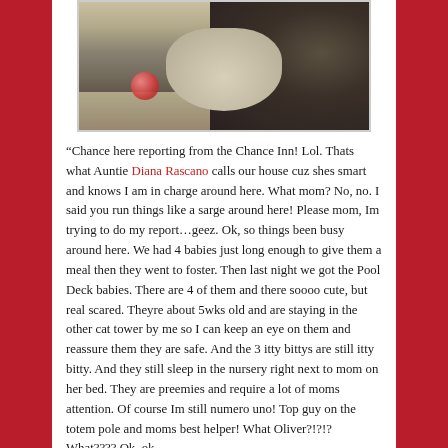[Figure (photo): A cat lying on a floor/carpet with a small pinkish-red ball toy visible. The cat appears to be a dark-furred cat with a white/light-colored paw visible.]
“Chance here reporting from the Chance Inn! Lol. Thats what Auntie Diana Rascano calls our house cuz shes smart and knows I am in charge around here. What mom? No, no. I said you run things like a sarge around here! Please mom, Im trying to do my report…geez. Ok, so things been busy around here. We had 4 babies just long enough to give them a meal then they went to foster. Then last night we got the Pool Deck babies. There are 4 of them and there soooo cute, but real scared. Theyre about 5wks old and are staying in the other cat tower by me so I can keep an eye on them and reassure them they are safe. And the 3 itty bittys are still itty bitty. And they still sleep in the nursery right next to mom on her bed. They are preemies and require a lot of moms attention. Of course Im still numero uno! Top guy on the totem pole and moms best helper! What Oliver?!?!? What???? Ok, ok,